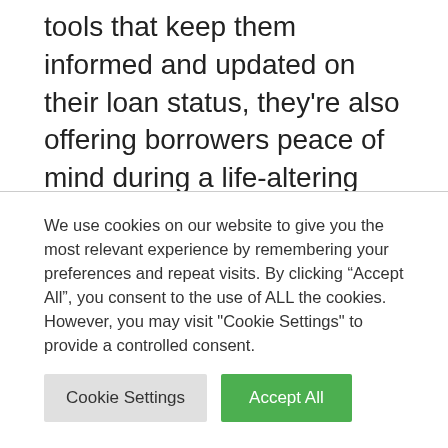tools that keep them informed and updated on their loan status, they're also offering borrowers peace of mind during a life-altering disruption.
Less stress means less frustration, which benefits your customer care team advising these borrowers.
We use cookies on our website to give you the most relevant experience by remembering your preferences and repeat visits. By clicking "Accept All", you consent to the use of ALL the cookies. However, you may visit "Cookie Settings" to provide a controlled consent.